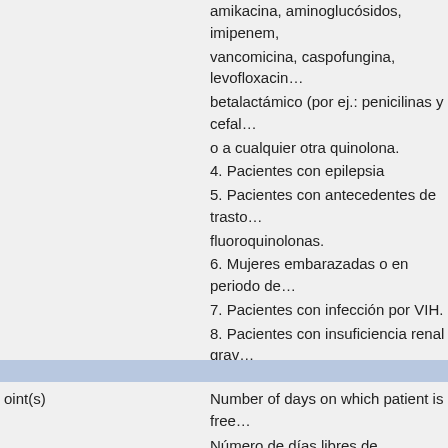amikacina, aminoglucósidos, imipenem, vancomicina, caspofungina, levofloxacin… betalactámico (por ej.: penicilinas y cefal… o a cualquier otra quinolona.
4. Pacientes con epilepsia
5. Pacientes con antecedentes de trasto… fluoroquinolonas.
6. Mujeres embarazadas o en periodo de…
7. Pacientes con infección por VIH.
8. Pacientes con insuficiencia renal grav… a 30 ml/min)
9. Pacientes que reciban medicación de… ergotamina y dihidroergotamina, terfena… rifampicina, carbamazepina, fenobarbit al… dos veces al día), hierba de San Juan o…
10. Participación, actualmente o en los tr… que la terapia o intervención pueda inter…
oint(s)
Number of days on which patient is free…
Número de días libres de tratamiento an…